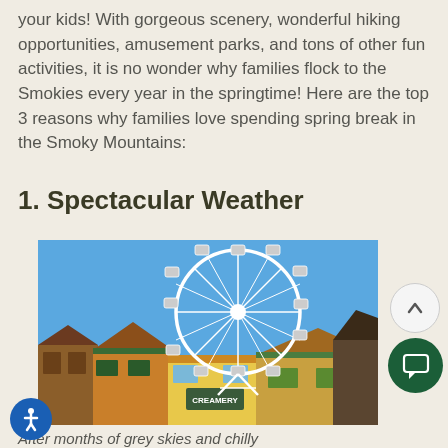your kids! With gorgeous scenery, wonderful hiking opportunities, amusement parks, and tons of other fun activities, it is no wonder why families flock to the Smokies every year in the springtime! Here are the top 3 reasons why families love spending spring break in the Smoky Mountains:
1. Spectacular Weather
[Figure (photo): Photograph of a large white Ferris wheel against a clear blue sky, with colorful amusement park buildings and storefronts including a 'Creamery' sign visible below.]
After months of grey skies and chilly...